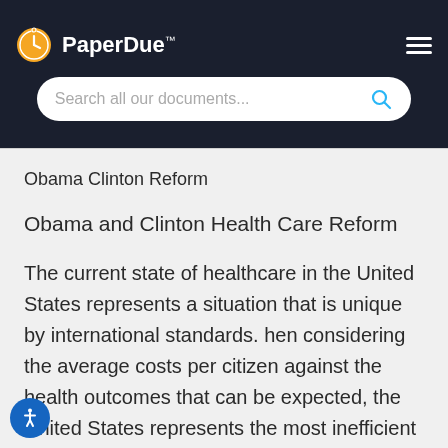PaperDue™
Obama Clinton Reform
Obama and Clinton Health Care Reform
The current state of healthcare in the United States represents a situation that is unique by international standards. hen considering the average costs per citizen against the health outcomes that can be expected, the United States represents the most inefficient medical system in the world. The U.S.